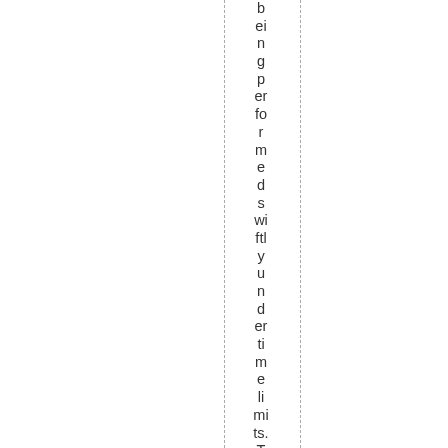being performed swiftly under time limits. This kee